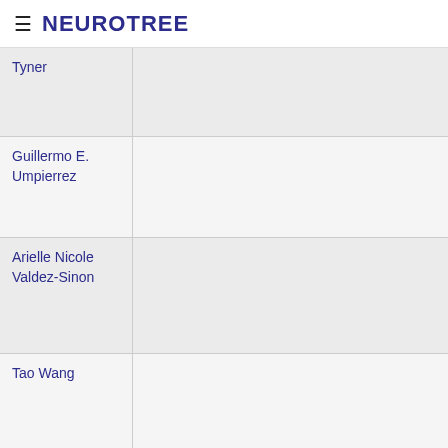≡ NEUROTREE
| Name | Info |
| --- | --- |
| Tyner |  |
| Guillermo E. Umpierrez |  |
| Arielle Nicole Valdez-Sinon |  |
| Tao Wang |  |
| Stephen T. Warren | human genetics |
| Kristy Welshhans |  |
| Yaron Wen |  |